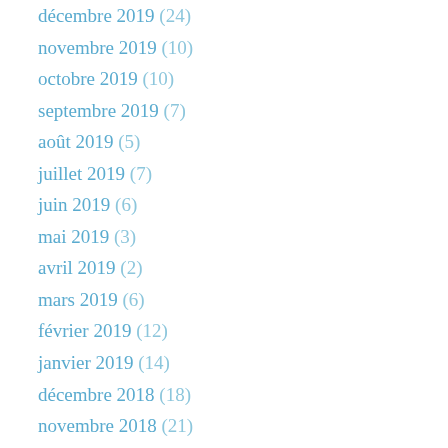décembre 2019 (24)
novembre 2019 (10)
octobre 2019 (10)
septembre 2019 (7)
août 2019 (5)
juillet 2019 (7)
juin 2019 (6)
mai 2019 (3)
avril 2019 (2)
mars 2019 (6)
février 2019 (12)
janvier 2019 (14)
décembre 2018 (18)
novembre 2018 (21)
octobre 2018 (16)
septembre 2018 (9)
août 2018 (8)
juillet 2018 (13)
juin 2018 (11)
mai 2018 (13)